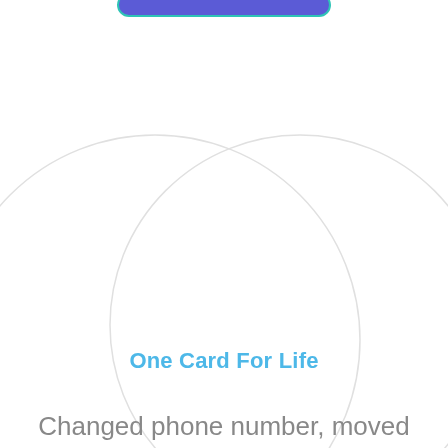[Figure (illustration): A blue/purple rounded rectangle button at the top center, partially cropped. Below it, two large overlapping light gray circles forming an abstract decorative graphic element on a white background.]
One Card For Life
Changed phone number, moved